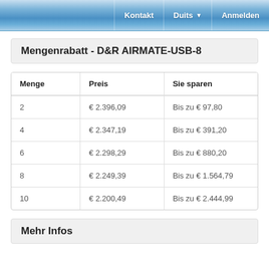Kontakt | Duits | Anmelden
Mengenrabatt - D&R AIRMATE-USB-8
| Menge | Preis | Sie sparen |
| --- | --- | --- |
| 2 | € 2.396,09 | Bis zu € 97,80 |
| 4 | € 2.347,19 | Bis zu € 391,20 |
| 6 | € 2.298,29 | Bis zu € 880,20 |
| 8 | € 2.249,39 | Bis zu € 1.564,79 |
| 10 | € 2.200,49 | Bis zu € 2.444,99 |
Mehr Infos